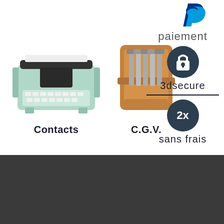[Figure (logo): PayPal logo (blue P symbol) in top right]
[Figure (photo): Vintage mint-green typewriter]
[Figure (photo): Leather tool roll with wrenches/spanners]
[Figure (infographic): Payment security icons: paiement text, lock icon (3dsecure), 2x circle (sans frais)]
Contacts
C.G.V.
paiement
3dsecure
2x
sans frais
QUI SOMMES-NOUS?